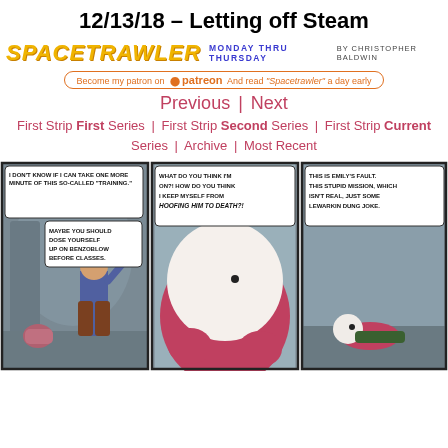12/13/18 – Letting off Steam
[Figure (logo): Spacetrawler webcomic logo with tagline 'Monday Thru Thursday by Christopher Baldwin' and Patreon banner]
Previous | Next
First Strip First Series | First Strip Second Series | First Strip Current Series | Archive | Most Recent
[Figure (illustration): Three-panel webcomic strip. Panel 1: Characters in a corridor, one says 'I DON'T KNOW IF I CAN TAKE ONE MORE MINUTE OF THIS SO-CALLED "TRAINING."', another replies 'MAYBE YOU SHOULD DOSE YOURSELF UP ON BENZOBLOW BEFORE CLASSES.' Panel 2: Close-up of a large round alien/creature saying 'WHAT DO YOU THINK I'M ON?! HOW DO YOU THINK I KEEP MYSELF FROM HOOFING HIM TO DEATH?!' Panel 3: A character lying down saying 'THIS IS EMILY'S FAULT. THIS STUPID MISSION, WHICH ISN'T REAL, JUST SOME LEWARKIN DUNG JOKE.']